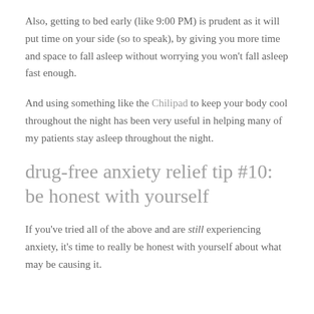Also, getting to bed early (like 9:00 PM) is prudent as it will put time on your side (so to speak), by giving you more time and space to fall asleep without worrying you won't fall asleep fast enough.
And using something like the Chilipad to keep your body cool throughout the night has been very useful in helping many of my patients stay asleep throughout the night.
drug-free anxiety relief tip #10: be honest with yourself
If you've tried all of the above and are still experiencing anxiety, it's time to really be honest with yourself about what may be causing it.